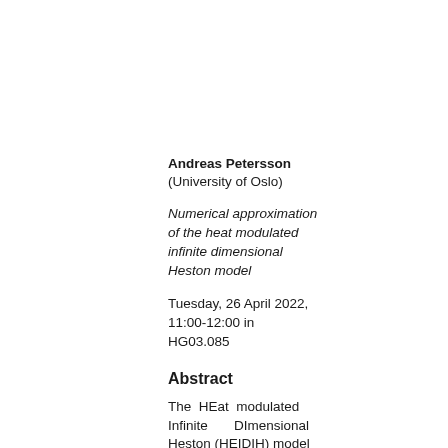Andreas Petersson
(University of Oslo)
Numerical approximation of the heat modulated infinite dimensional Heston model
Tuesday, 26 April 2022, 11:00-12:00 in HG03.085
Abstract
The HEat modulated Infinite DImensional Heston (HEIDIH) model